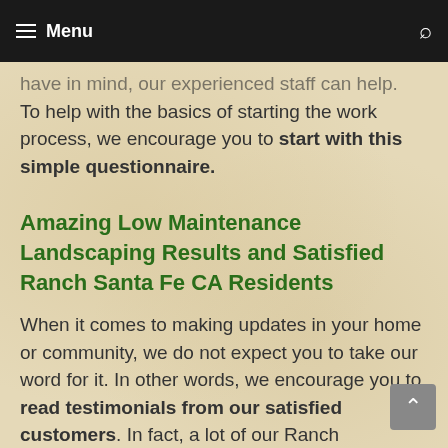Menu
have in mind, our experienced staff can help. To help with the basics of starting the work process, we encourage you to start with this simple questionnaire.
Amazing Low Maintenance Landscaping Results and Satisfied Ranch Santa Fe CA Residents
When it comes to making updates in your home or community, we do not expect you to take our word for it. In other words, we encourage you to read testimonials from our satisfied customers. In fact, a lot of our Ranch